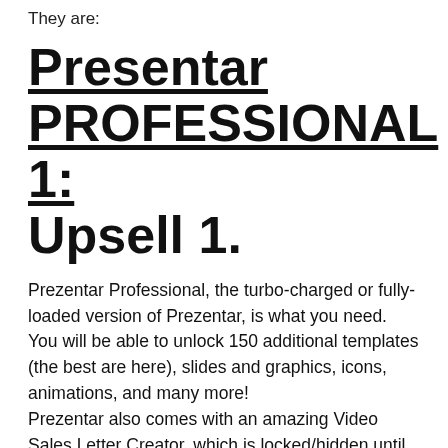They are:
Presentar PROFESSIONAL 1: Upsell 1.
Prezentar Professional, the turbo-charged or fully-loaded version of Prezentar, is what you need. You will be able to unlock 150 additional templates (the best are here), slides and graphics, icons, animations, and many more!
Prezentar also comes with an amazing Video Sales Letter Creator, which is locked/hidden until you upgrade. This product is completely separate and can be used to create high-converting video sales letters.